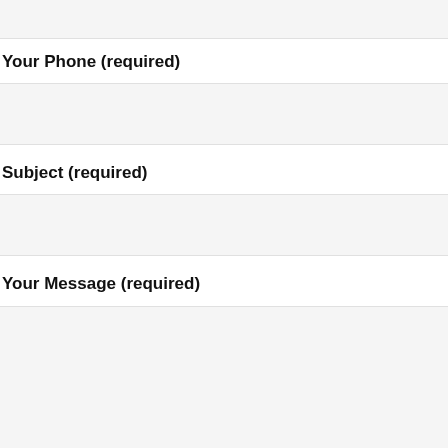Your Phone (required)
[Figure (other): Empty text input field for phone number]
Subject (required)
[Figure (other): Empty text input field for subject]
Your Message (required)
[Figure (other): Large empty textarea for message with a scroll-to-top button (chevron up icon) in the upper right corner, light yellow background button]